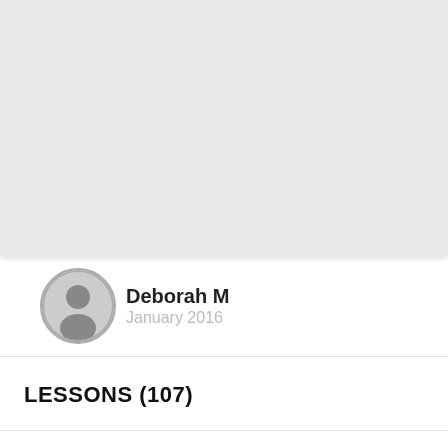[Figure (photo): Light gray placeholder image area at the top of the page]
[Figure (illustration): Circular avatar with generic person silhouette icon in gray]
Deborah M
January 2016
LESSONS (107)